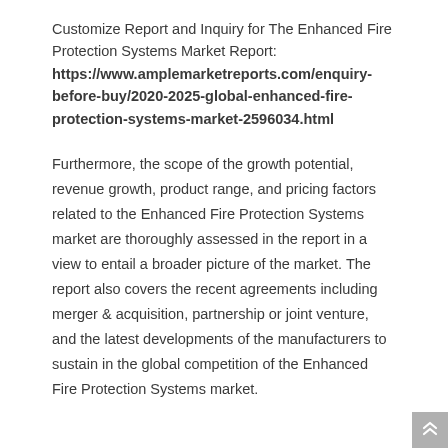Customize Report and Inquiry for The Enhanced Fire Protection Systems Market Report: https://www.amplemarketreports.com/enquiry-before-buy/2020-2025-global-enhanced-fire-protection-systems-market-2596034.html
Furthermore, the scope of the growth potential, revenue growth, product range, and pricing factors related to the Enhanced Fire Protection Systems market are thoroughly assessed in the report in a view to entail a broader picture of the market. The report also covers the recent agreements including merger & acquisition, partnership or joint venture, and the latest developments of the manufacturers to sustain in the global competition of the Enhanced Fire Protection Systems market.